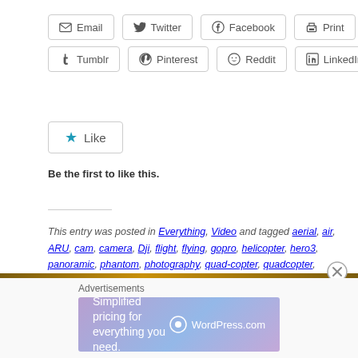[Figure (other): Social share buttons: Email, Twitter, Facebook, Print, Tumblr, Pinterest, Reddit, LinkedIn]
[Figure (other): Like button widget with star icon]
Be the first to like this.
This entry was posted in Everything, Video and tagged aerial, air, ARU, cam, camera, Dji, flight, flying, gopro, helicopter, hero3, panoramic, phantom, photography, quad-copter, quadcopter, test, test flight, UAV, video, videography, view, xiaoji, xiaoji.tv. Bookmark the permalink.
[Figure (infographic): Advertisement banner: Simplified pricing for everything you need. WordPress.com]